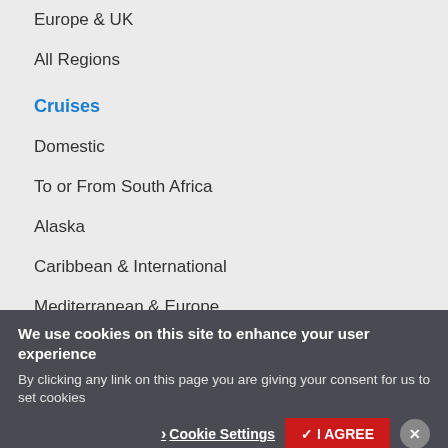Europe & UK
All Regions
Cruises
Domestic
To or From South Africa
Alaska
Caribbean & International
Mediterranean & Europe
We use cookies on this site to enhance your user experience
By clicking any link on this page you are giving your consent for us to set cookies
Cookie Settings
✓ I AGREE